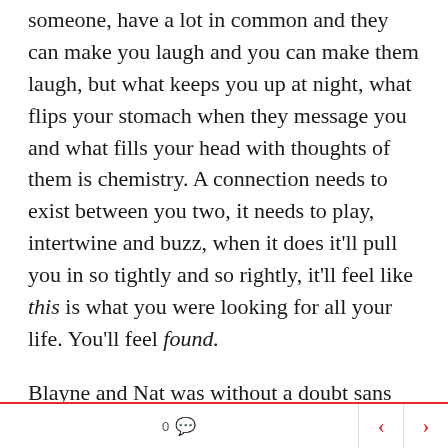someone, have a lot in common and they can make you laugh and you can make them laugh, but what keeps you up at night, what flips your stomach when they message you and what fills your head with thoughts of them is chemistry. A connection needs to exist between you two, it needs to play, intertwine and buzz, when it does it'll pull you in so tightly and so rightly, it'll feel like this is what you were looking for all your life. You'll feel found.
Blayne and Nat was without a doubt sans
0 < >